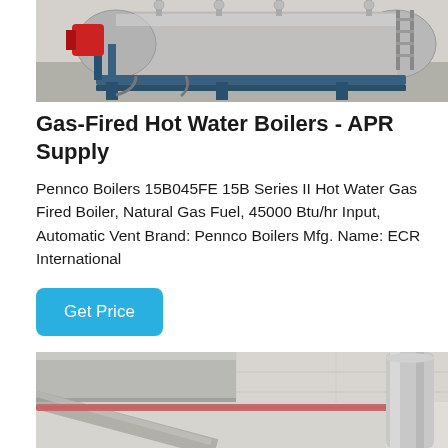[Figure (photo): Industrial horizontal gas-fired hot water boiler on a metal frame/skid, silver cylindrical tank with blue structural supports, pipes and connections visible, red component on left side]
Gas-Fired Hot Water Boilers - APR Supply
Pennco Boilers 15B045FE 15B Series II Hot Water Gas Fired Boiler, Natural Gas Fuel, 45000 Btu/hr Input, Automatic Vent Brand: Pennco Boilers Mfg. Name: ECR International
Get Price
[Figure (photo): Industrial ceiling with metal ductwork, red pipe running horizontally, and a vertical silver cylindrical tank or pipe on the right side, industrial building interior]